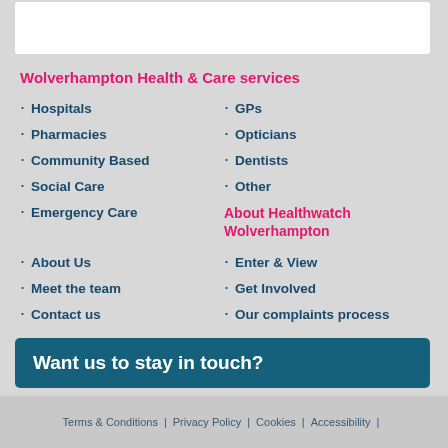Wolverhampton Health & Care services
Hospitals
GPs
Pharmacies
Opticians
Community Based
Dentists
Social Care
Other
Emergency Care
About Healthwatch Wolverhampton
About Us
Enter & View
Meet the team
Get Involved
Contact us
Our complaints process
Want us to stay in touch?
Terms & Conditions | Privacy Policy | Cookies | Accessibility |